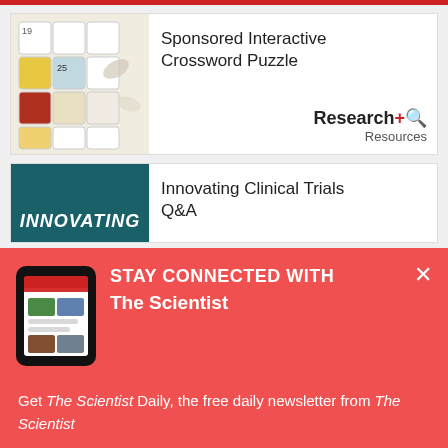[Figure (screenshot): Crossword puzzle tiles image with colorful blocks showing numbers 19 and 25]
Sponsored Interactive Crossword Puzzle
[Figure (logo): Research+ Resources logo with red plus icon and magnifying glass]
[Figure (illustration): Teal/dark green background with white bold italic text reading INNOVATING]
Innovating Clinical Trials Q&A
[Figure (screenshot): Tablet device showing The Scientist Daily newsletter app]
STAY CONNECTED WITH The Scientist
Get The Scientist Daily, the free daily newsletter from The Scientist
Sign up for our free newsletter